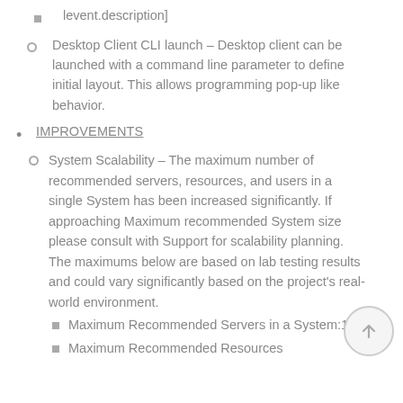[event.description]
Desktop Client CLI launch – Desktop client can be launched with a command line parameter to define initial layout. This allows programming pop-up like behavior.
IMPROVEMENTS
System Scalability – The maximum number of recommended servers, resources, and users in a single System has been increased significantly. If approaching Maximum recommended System size please consult with Support for scalability planning. The maximums below are based on lab testing results and could vary significantly based on the project's real-world environment.
Maximum Recommended Servers in a System:100
Maximum Recommended Resources